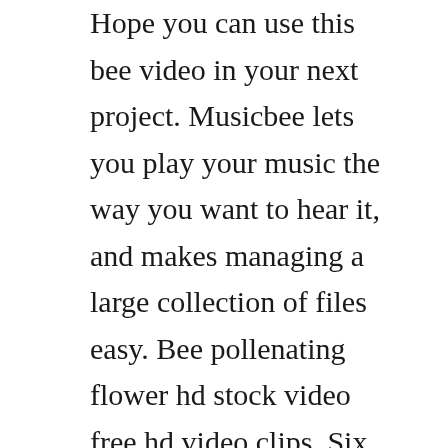Hope you can use this bee video in your next project. Musicbee lets you play your music the way you want to hear it, and makes managing a large collection of files easy. Bee pollenating flower hd stock video free hd video clips. Six teens attending an adventure camp on the opposite side of isla nublar must band together to survive when. Bumblebee latest movie hd mp4 free download for recruitment. For each video you play there is also a download button so you can store it directly on your. Bailey jay assfucked bee armitage, free shemale hd porn f9. Infinity